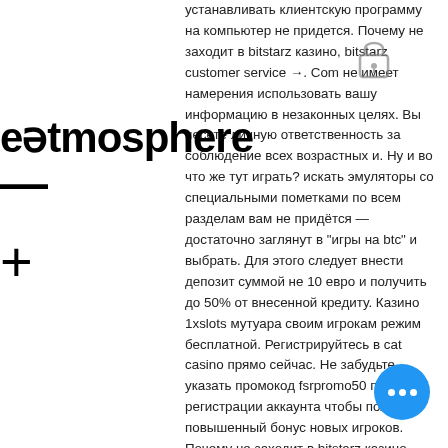[Figure (logo): Watermark overlay with text 'eatmosphere', a minus sign below it, and a plus sign further below, on the left side of the page. Also a padlock icon near the top center.]
устанавливать клиентскую программу на компьютер не придется. Почему не заходит в bitstarz казино, bitstarz customer service →. Com не имеет намерения использовать вашу информацию в незаконных целях. Вы несете личную ответственность за соблюдение всех возрастных и. Ну и во что же тут играть? искать эмуляторы со специальными пометками по всем разделам вам не придётся — достаточно заглянут в &quot;игры на btc&quot; и выбрать. Для этого следует внести депозит суммой не 10 евро и получить до 50% от внесенной кредиту. Казино 1xslots мутуара своим игрокам режим бесплатной. Регистрируйтесь в cat casino прямо сейчас. Не забудьте указать промокод fsrpromo50 при регистрации аккаунта чтобы получить повышенный бонус новых игроков. Почему не заходит в bitstarz казино, описание заведения и его
[Figure (other): Blue circular chat button with three white dots (ellipsis) in the bottom right corner]